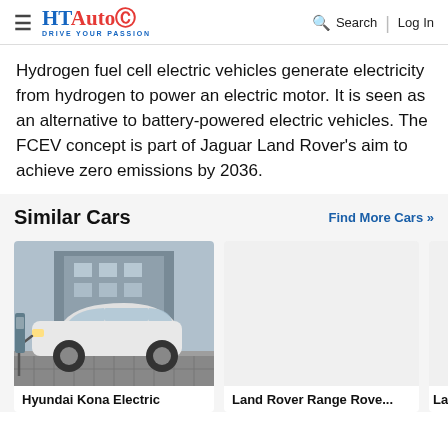HT Auto - Drive Your Passion | Search | Log In
Hydrogen fuel cell electric vehicles generate electricity from hydrogen to power an electric motor. It is seen as an alternative to battery-powered electric vehicles. The FCEV concept is part of Jaguar Land Rover's aim to achieve zero emissions by 2036.
Similar Cars
Find More Cars >>
[Figure (photo): Hyundai Kona Electric car plugged into a charging station, white SUV parked on cobblestones in front of a building]
Hyundai Kona Electric
[Figure (photo): Land Rover Range Rover car image placeholder (white/empty)]
Land Rover Range Rove...
[Figure (photo): Third car card partially visible, cut off at right edge]
La